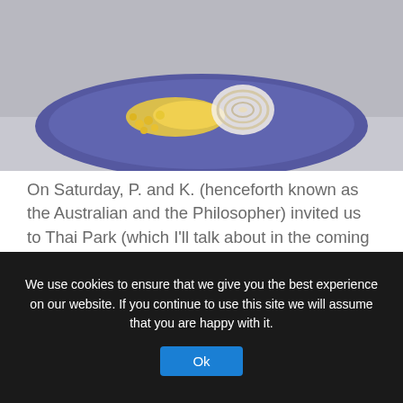[Figure (photo): A blue/purple plate with food items including what appears to be corn and sliced onions, photographed from above on a light surface.]
On Saturday, P. and K. (henceforth known as the Australian and the Philosopher) invited us to Thai Park (which I'll talk about in the coming weeks) for a picnic with their little one (who is 14 weeks old). We spent a leisurely afternoon snacking on delicious food and enjoying the weather and conversation. After a few hours, we headed back home, and I ended up taking a two-hour nap with Björn in the early evening, which was super nice. That still didn't
We use cookies to ensure that we give you the best experience on our website. If you continue to use this site we will assume that you are happy with it.
Ok